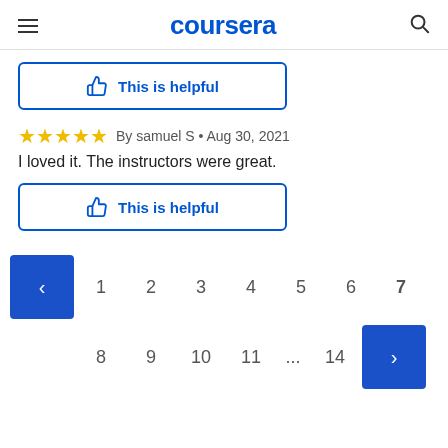coursera
This is helpful
★★★★★ By samuel S • Aug 30, 2021
I loved it. The instructors were great.
This is helpful
< 1 2 3 4 5 6 7 8 9 10 11 ... 14 >